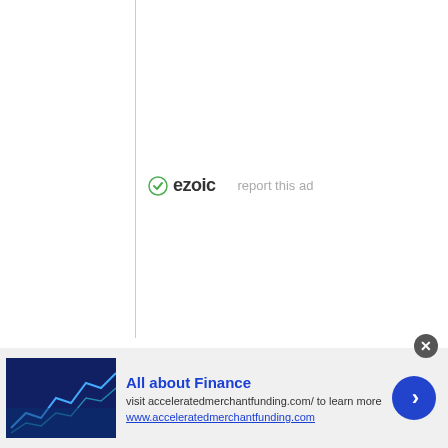[Figure (logo): Ezoic logo with green circular icon and bold 'ezoic' text, followed by 'report this ad' link in gray]
Categories
[Figure (screenshot): Select Category dropdown box with chevron arrow]
[Figure (infographic): Ad banner: 'All about Finance' - visit acceleratedmerchantfunding.com/ to learn more. www.acceleratedmerchantfunding.com]